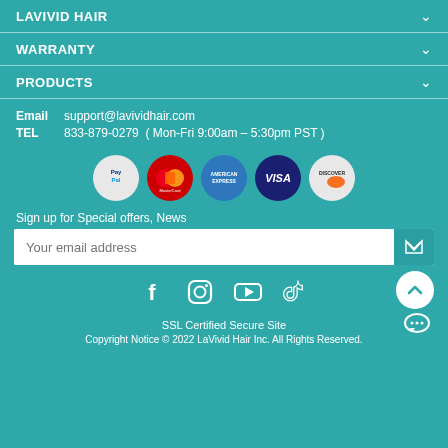LAVIVID HAIR
WARRANTY
PRODUCTS
Email   support@lavividhair.com
TEL     833-879-0279  ( Mon-Fri 9:00am – 5:30pm PST )
[Figure (infographic): Payment method icons: PayPal, MasterCard, American Express, Visa, Discover]
Sign up for Special offers, News
Your email address
[Figure (infographic): Social media icons: Facebook, Instagram, YouTube, TikTok; scroll-to-top button]
SSL Certified Secure Site
Copyright Notice © 2022 LaVivid Hair Inc. All Rights Reserved.